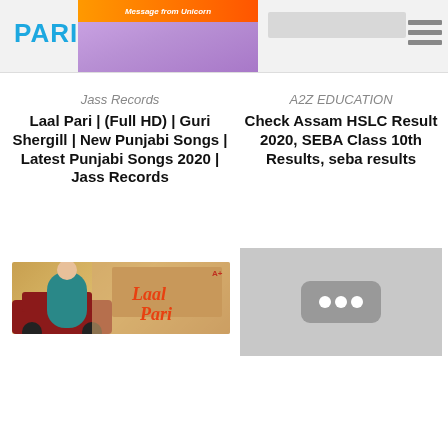PARI-SMS.FR
[Figure (screenshot): Website header with PARI-SMS.FR logo, a promotional banner image with purple/orange coloring, a search bar, and a hamburger menu icon]
Jass Records
Laal Pari | (Full HD) | Guri Shergill | New Punjabi Songs | Latest Punjabi Songs 2020 | Jass Records
[Figure (screenshot): YouTube video thumbnail showing Laal Pari song - man in teal clothes, red jeep, desert fort background with 'Laal Pari' text in orange]
A2Z EDUCATION
Check Assam HSLC Result 2020, SEBA Class 10th Results, seba results
[Figure (screenshot): YouTube video thumbnail placeholder with gray background and loading dots icon]